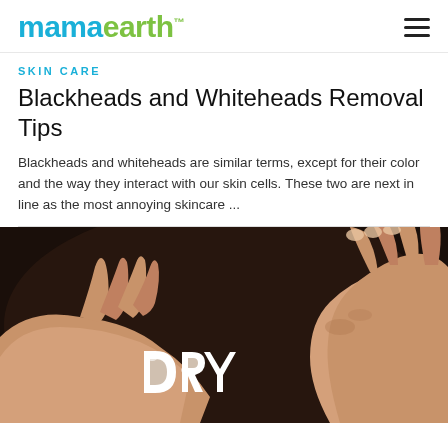mamaearth™
SKIN CARE
Blackheads and Whiteheads Removal Tips
Blackheads and whiteheads are similar terms, except for their color and the way they interact with our skin cells. These two are next in line as the most annoying skincare ...
[Figure (photo): Close-up photo of hands applying cream/clay product with the word 'DRY' written in white clay on the back of a hand, dark background]